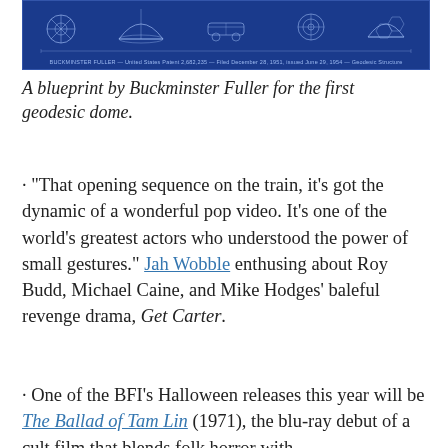[Figure (photo): A blueprint by Buckminster Fuller for the first geodesic dome — white line technical drawing on blue background, showing geodesic dome diagrams and geometric structures. Small caption text at the bottom of the image.]
A blueprint by Buckminster Fuller for the first geodesic dome.
· “That opening sequence on the train, it’s got the dynamic of a wonderful pop video. It’s one of the world’s greatest actors who understood the power of small gestures.” Jah Wobble enthusing about Roy Budd, Michael Caine, and Mike Hodges’ baleful revenge drama, Get Carter.
· One of the BFI’s Halloween releases this year will be The Ballad of Tam Lin (1971), the blu-ray debut of a cult film that blends folk horror with